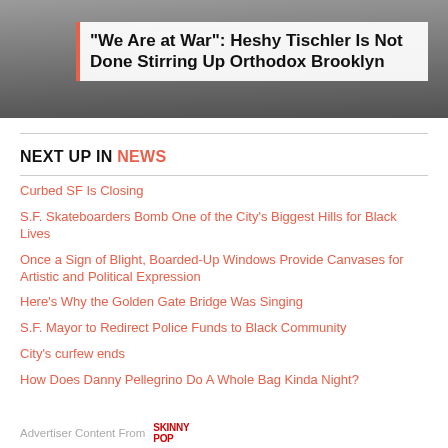[Figure (photo): Background photo of a person, partially visible at the top of the page]
"We Are at War": Heshy Tischler Is Not Done Stirring Up Orthodox Brooklyn
NEXT UP IN NEWS
Curbed SF Is Closing
S.F. Skateboarders Bomb One of the City's Biggest Hills for Black Lives
Once a Sign of Blight, Boarded-Up Windows Provide Canvases for Artistic and Political Expression
Here's Why the Golden Gate Bridge Was Singing
S.F. Mayor to Redirect Police Funds to Black Community
City's curfew ends
How Does Danny Pellegrino Do A Whole Bag Kinda Night?
Advertiser Content From SKINNY POP